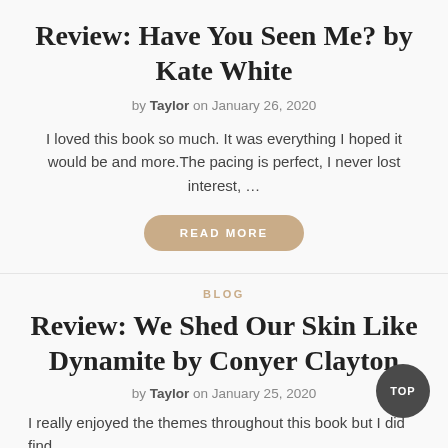Review: Have You Seen Me? by Kate White
by Taylor on January 26, 2020
I loved this book so much. It was everything I hoped it would be and more.The pacing is perfect, I never lost interest, …
READ MORE
BLOG
Review: We Shed Our Skin Like Dynamite by Conyer Clayton
by Taylor on January 25, 2020
I really enjoyed the themes throughout this book but I did find